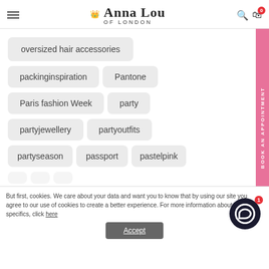Anna Lou OF LONDON
oversized hair accessories
packinginspiration
Pantone
Paris fashion Week
party
partyjewellery
partyoutfits
partyseason
passport
pastelpink
But first, cookies. We care about your data and want you to know that by using our site you agree to our use of cookies to create a better experience. For more information about the specifics, click here
BOOK AN APPOINTMENT